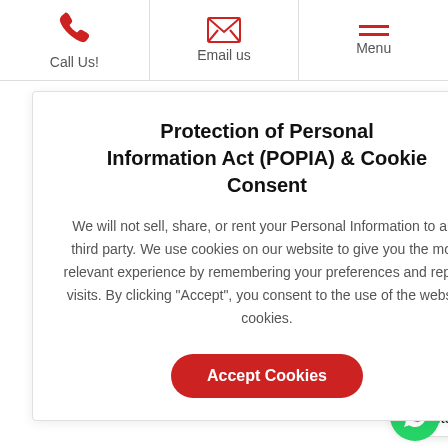Call Us! | Email us | Menu
nine.
South Africa squad: Du Plessis (c), Amla, De Kock, Duminy, ...idi, Phehlukwayo, ...Chahal, Dhawan, ...Shami, Pandey, ...
[Figure (other): POPIA Cookie Consent modal dialog with Accept Cookies button]
...berience Protea ...
Contact us